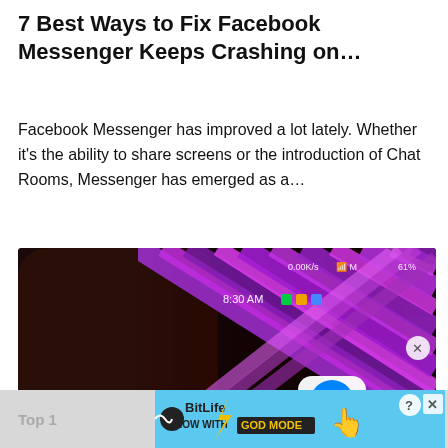7 Best Ways to Fix Facebook Messenger Keeps Crashing on…
Facebook Messenger has improved a lot lately. Whether it's the ability to share screens or the introduction of Chat Rooms, Messenger has emerged as a…
[Figure (photo): Close-up photo of a smartphone showing the Facebook Messenger app icon with colorful purple/pink striped wallpaper and status bar showing 8:30 AM, 0.00K/s, signal, and 61% battery.]
[Figure (screenshot): BitLife advertisement banner reading 'NOW WITH GOD MODE' with a pointing hand graphic and question mark/close icons.]
Top 1